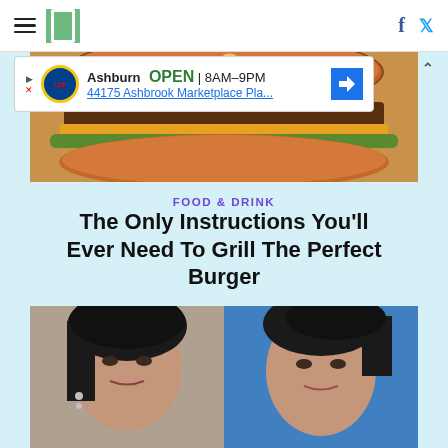HuffPost navigation with hamburger menu, logo, Facebook and Twitter icons
[Figure (photo): Advertisement banner: Lidl store in Ashburn, OPEN 8AM-9PM, 44175 Ashbrook Marketplace Pla...]
[Figure (photo): Close-up photo of a grilled burger with sesame seed bun]
FOOD & DRINK
The Only Instructions You'll Ever Need To Grill The Perfect Burger
[Figure (photo): Side-by-side photos of two women with dark hair and dramatic eye makeup]